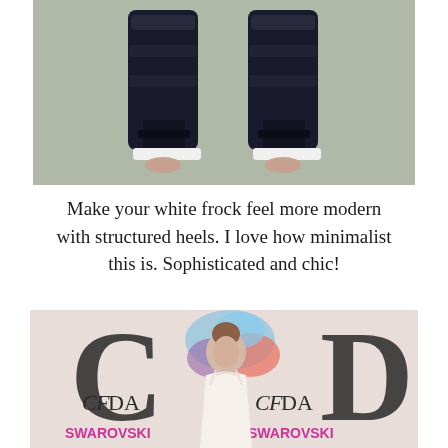[Figure (photo): Close-up photo of feet wearing black structured heeled sandals on a grey/green carpet background]
Make your white frock feel more modern with structured heels. I love how minimalist this is. Sophisticated and chic!
[Figure (photo): Woman in a white halter dress standing on a red carpet with CFDA and SWAROVSKI logos visible on the backdrop]